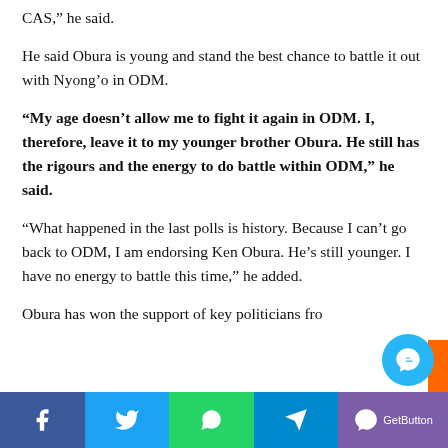CAS,” he said.
He said Obura is young and stand the best chance to battle it out with Nyong’o in ODM.
“My age doesn’t allow me to fight it again in ODM. I, therefore, leave it to my younger brother Obura. He still has the rigours and the energy to do battle within ODM,” he said.
“What happened in the last polls is history. Because I can’t go back to ODM, I am endorsing Ken Obura. He’s still younger. I have no energy to battle this time,” he added.
Obura has won the support of key politicians fro…